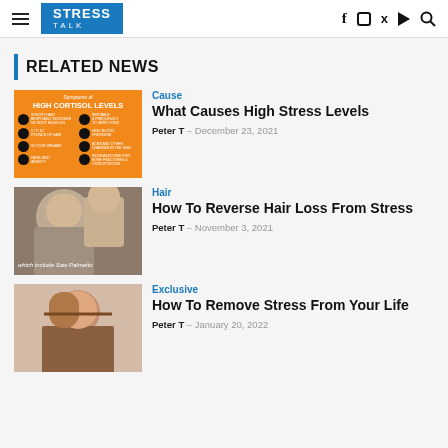STRESS TALK
RELATED NEWS
[Figure (infographic): Infographic: Symptoms of High Cortisol Levels on orange background with icons]
Cause
What Causes High Stress Levels
Peter T – December 23, 2021
[Figure (photo): Photo of a man with hair loss being examined, with text overlay 'which include Saw Palmetto']
Hair
How To Reverse Hair Loss From Stress
Peter T – November 3, 2021
[Figure (photo): Photo of a stressed woman holding her head with both hands]
Exclusive
How To Remove Stress From Your Life
Peter T – January 20, 2022